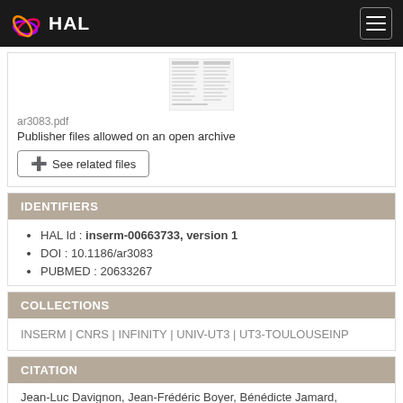HAL
[Figure (other): Thumbnail of PDF document ar3083.pdf]
ar3083.pdf
Publisher files allowed on an open archive
+ See related files
IDENTIFIERS
HAL Id : inserm-00663733, version 1
DOI : 10.1186/ar3083
PUBMED : 20633267
COLLECTIONS
INSERM | CNRS | INFINITY | UNIV-UT3 | UT3-TOULOUSEINP
CITATION
Jean-Luc Davignon, Jean-Frédéric Boyer, Bénédicte Jamard, Delphine